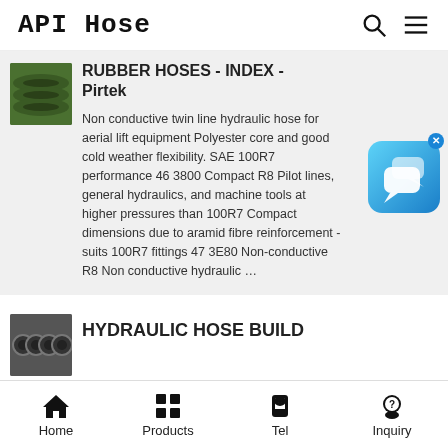API Hose
RUBBER HOSES - INDEX - Pirtek
Non conductive twin line hydraulic hose for aerial lift equipment Polyester core and good cold weather flexibility. SAE 100R7 performance 46 3800 Compact R8 Pilot lines, general hydraulics, and machine tools at higher pressures than 100R7 Compact dimensions due to aramid fibre reinforcement - suits 100R7 fittings 47 3E80 Non-conductive R8 Non conductive hydraulic …
[Figure (photo): Thumbnail image of green rubber hoses]
[Figure (photo): Chat support widget with blue speech bubble icons]
[Figure (photo): Thumbnail image of bundled hydraulic hoses]
HYDRAULIC HOSE BUILD
Home  Products  Tel  Inquiry